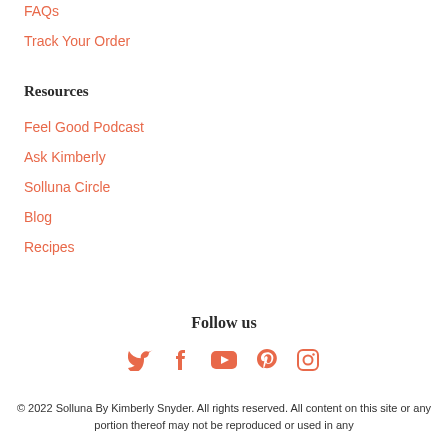FAQs
Track Your Order
Resources
Feel Good Podcast
Ask Kimberly
Solluna Circle
Blog
Recipes
Follow us
[Figure (infographic): Social media icons row: Twitter, Facebook, YouTube, Pinterest, Instagram — all in salmon/coral color]
© 2022 Solluna By Kimberly Snyder. All rights reserved. All content on this site or any portion thereof may not be reproduced or used in any